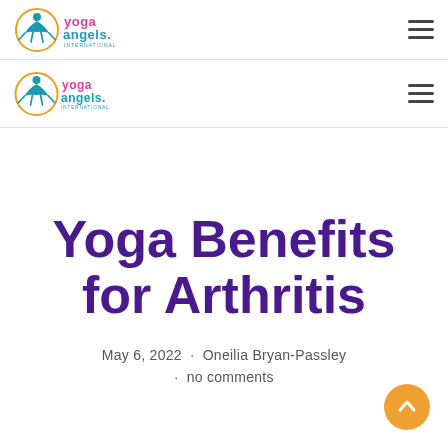[Figure (logo): Yoga Angels International logo — orange circle with blue yoga figure silhouette, pink and teal text 'yoga angels.' with 'INTERNATIONAL' below]
[Figure (logo): Yoga Angels International logo (second/sticky nav) — same orange circle with blue yoga figure silhouette, pink and teal text 'yoga angels.' with 'INTERNATIONAL' below]
Yoga Benefits for Arthritis
May 6, 2022  ·  Oneilia Bryan-Passley
·  no comments